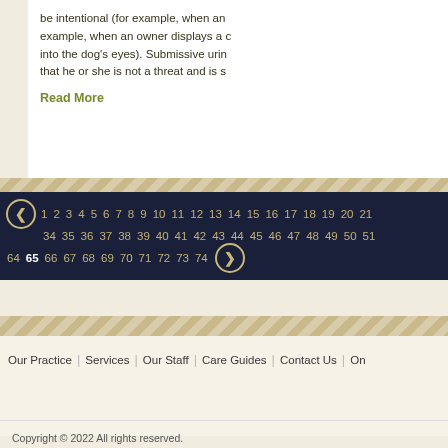be intentional (for example, when an example, when an owner displays a c into the dog's eyes). Submissive urin that he or she is not a threat and is s
Read More
1 2 3 4 5 6 7 8 9 10 11 12 13 14 15 16 17 18 19 20 21 34 35 36 37 38 39 40 41 42 43 44 45 46 47 48 49 50 51 64 65 66 67 68 69 70 71 72 73 74
Our Practice | Services | Our Staff | Care Guides | Contact Us | On
Copyright © 2022 All rights reserved.